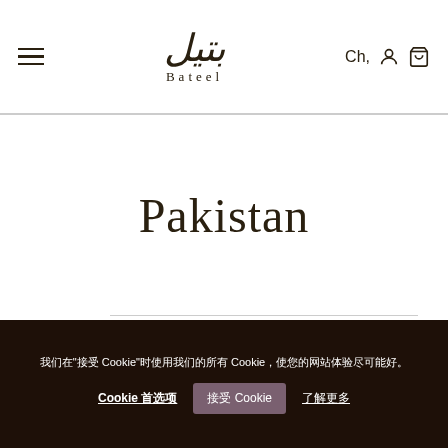Bateel — menu, logo, Ch, user icon, cart icon
Pakistan
Lahore
Located in: DHA Phase 5
Cookie settings notice — Cookie consent banner with accept and settings options